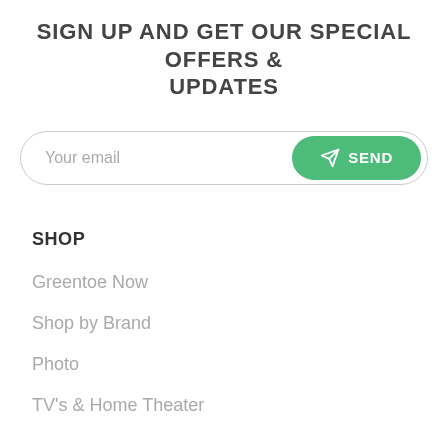SIGN UP AND GET OUR SPECIAL OFFERS & UPDATES
Your email | SEND
SHOP
Greentoe Now
Shop by Brand
Photo
TV's & Home Theater